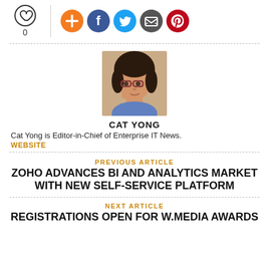[Figure (infographic): Heart/like icon with count 0, and social sharing icons (add, Facebook, Twitter, email, Pinterest)]
[Figure (photo): Headshot photo of Cat Yong, a woman with dark hair and glasses]
CAT YONG
Cat Yong is Editor-in-Chief of Enterprise IT News.
WEBSITE
PREVIOUS ARTICLE
ZOHO ADVANCES BI AND ANALYTICS MARKET WITH NEW SELF-SERVICE PLATFORM
NEXT ARTICLE
REGISTRATIONS OPEN FOR W.MEDIA AWARDS